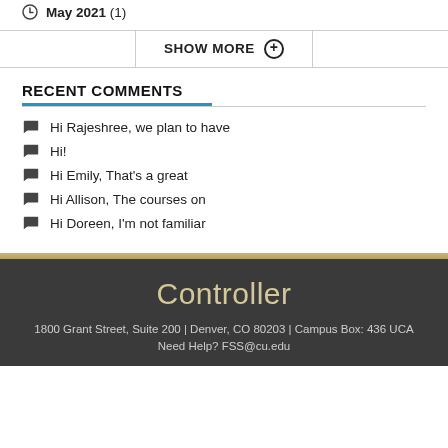May 2021 (1)
SHOW MORE +
RECENT COMMENTS
Hi Rajeshree, we plan to have
Hi!
Hi Emily, That's a great
Hi Allison, The courses on
Hi Doreen, I'm not familiar
Controller
1800 Grant Street, Suite 200 | Denver, CO 80203 | Campus Box: 436 UCA
Need Help? FSS@cu.edu